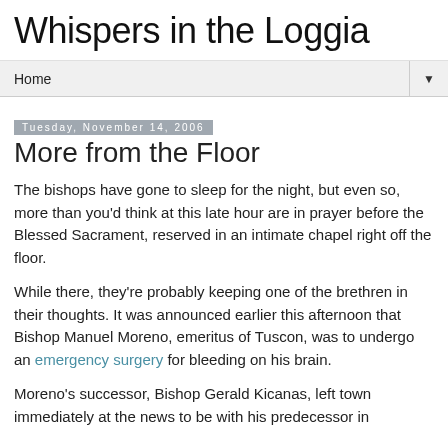Whispers in the Loggia
Home
Tuesday, November 14, 2006
More from the Floor
The bishops have gone to sleep for the night, but even so, more than you'd think at this late hour are in prayer before the Blessed Sacrament, reserved in an intimate chapel right off the floor.
While there, they're probably keeping one of the brethren in their thoughts. It was announced earlier this afternoon that Bishop Manuel Moreno, emeritus of Tuscon, was to undergo an emergency surgery for bleeding on his brain.
Moreno's successor, Bishop Gerald Kicanas, left town immediately at the news to be with his predecessor in